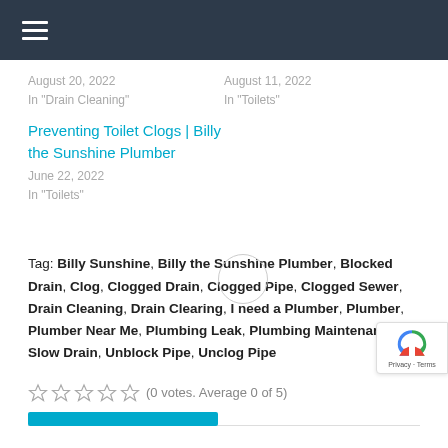≡ (hamburger menu)
August 20, 2022
In "Drain Cleaning"
August 11, 2022
In "Toilets"
Preventing Toilet Clogs | Billy the Sunshine Plumber
June 22, 2022
In "Toilets"
Tag: Billy Sunshine, Billy the Sunshine Plumber, Blocked Drain, Clog, Clogged Drain, Clogged Pipe, Clogged Sewer, Drain Cleaning, Drain Clearing, I need a Plumber, Plumber, Plumber Near Me, Plumbing Leak, Plumbing Maintenance, Slow Drain, Unblock Pipe, Unclog Pipe
(0 votes. Average 0 of 5)